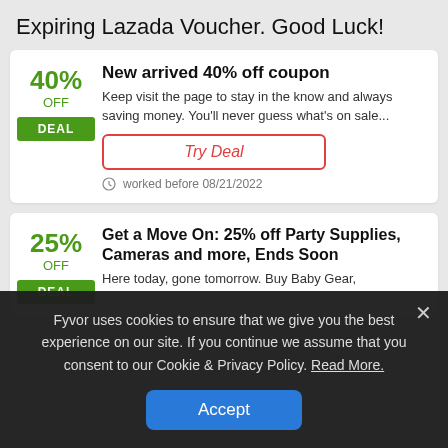Expiring Lazada Voucher. Good Luck!
40% OFF DEAL — New arrived 40% off coupon
Keep visit the page to stay in the know and always saving money. You'll never guess what's on sale...
Try Deal
worked before 08/21/2022
25% OFF DEAL — Get a Move On: 25% off Party Supplies, Cameras and more, Ends Soon
Here today, gone tomorrow. Buy Baby Gear,
Fyvor uses cookies to ensure that we give you the best experience on our site. If you continue we assume that you consent to our Cookie & Privacy Policy. Read More.
Accept
This is it! 15% off ends in HOURS